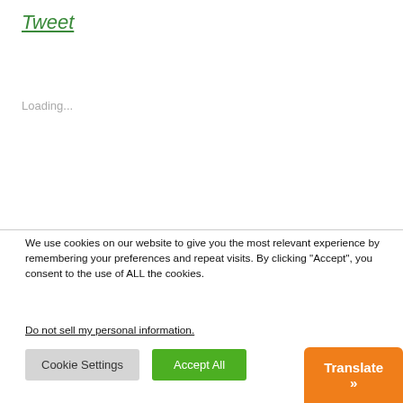Tweet
Loading...
We use cookies on our website to give you the most relevant experience by remembering your preferences and repeat visits. By clicking “Accept”, you consent to the use of ALL the cookies.
Do not sell my personal information.
Cookie Settings
Accept All
Translate »